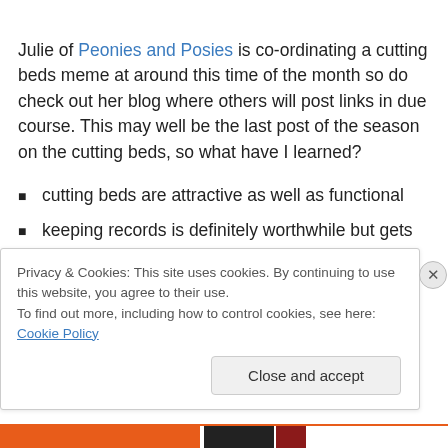Julie of Peonies and Posies is co-ordinating a cutting beds meme at around this time of the month so do check out her blog where others will post links in due course. This may well be the last post of the season on the cutting beds, so what have I learned?
cutting beds are attractive as well as functional
keeping records is definitely worthwhile but gets harder later in the season
Privacy & Cookies: This site uses cookies. By continuing to use this website, you agree to their use.
To find out more, including how to control cookies, see here: Cookie Policy